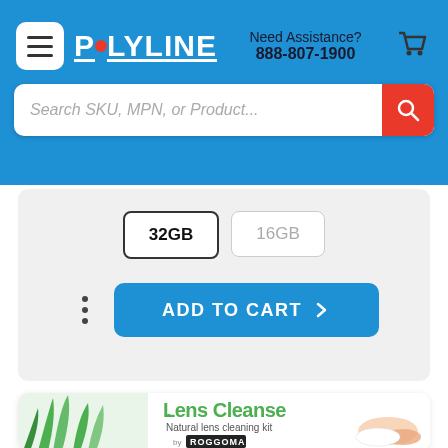POLYLINE | Need Assistance? 888-807-1900
Search SKU, MPN, or Product...
32GB | 16GB
ADD TO CART
[Figure (photo): Lens Cleanse Natural lens cleaning kit by Rogoman product packaging photo]